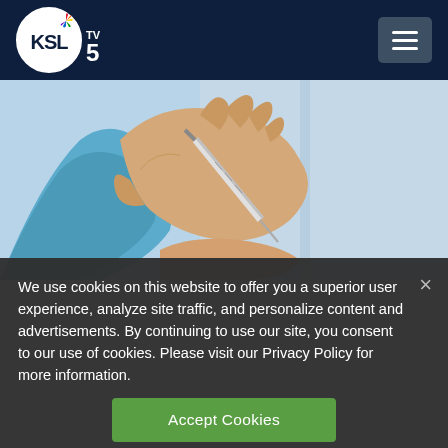[Figure (logo): KSL TV 5 NBC logo with circular KSL text and NBC peacock icon]
[Figure (photo): Close-up photo of a gloved healthcare worker in blue PPE holding a syringe, preparing a vaccine or injection]
We use cookies on this website to offer you a superior user experience, analyze site traffic, and personalize content and advertisements. By continuing to use our site, you consent to our use of cookies. Please visit our Privacy Policy for more information.
Accept Cookies